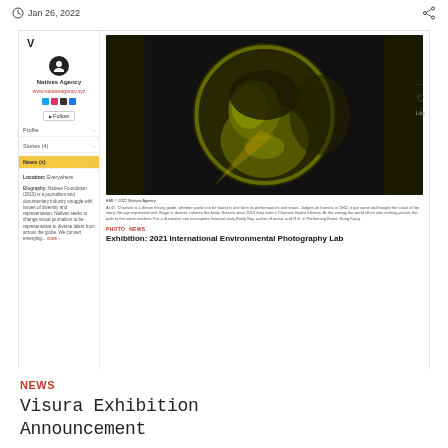Jan 26, 2022
[Figure (screenshot): Screenshot of Visura agency profile page with a photo of a person in artistic green-toned lighting, followed by an article teaser about '2021 International Environmental Photography Lab']
NEWS
Visura Exhibition Announcement